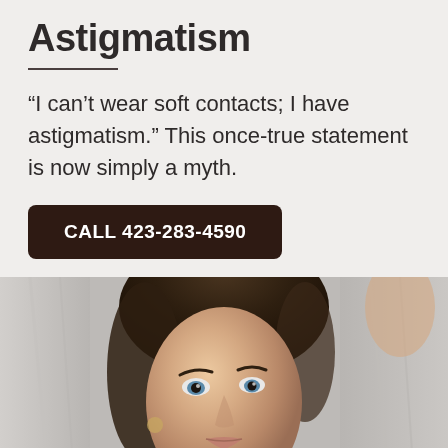Astigmatism
“I can’t wear soft contacts; I have astigmatism.” This once-true statement is now simply a myth.
CALL 423-283-4590
[Figure (photo): Portrait photo of a young woman with brown hair, looking up slightly, wearing a white top, with soft fabric/curtain in the background.]